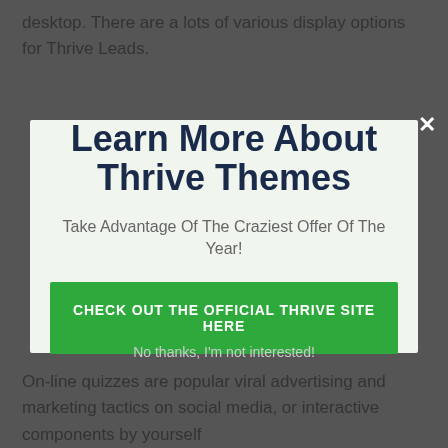desktop. There are a lots of various display options for Thrive Leads.
[Figure (screenshot): Modal popup with title 'Learn More About Thrive Themes', subtitle 'Take Advantage Of The Craziest Offer Of The Year!', and a green CTA button 'CHECK OUT THE OFFICIAL THRIVE SITE HERE']
No thanks, I'm not interested!
On-line quizzes are popular viral advertising and marketing tactics on social media, or interactive components by yourself